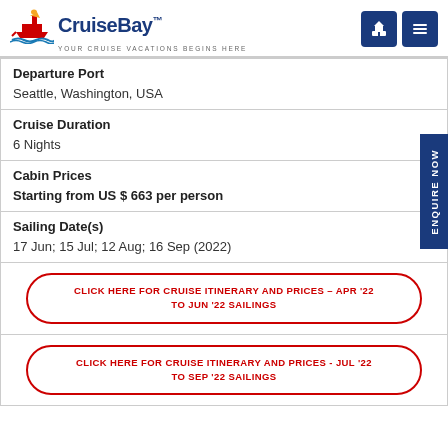CruiseBay™ — YOUR CRUISE VACATIONS BEGINS HERE
| Departure Port | Seattle, Washington, USA |
| Cruise Duration | 6 Nights |
| Cabin Prices | Starting from US $ 663 per person |
| Sailing Date(s) | 17 Jun; 15 Jul; 12 Aug; 16 Sep (2022) |
CLICK HERE FOR CRUISE ITINERARY AND PRICES – APR '22 TO JUN '22 SAILINGS
CLICK HERE FOR CRUISE ITINERARY AND PRICES - JUL '22 TO SEP '22 SAILINGS